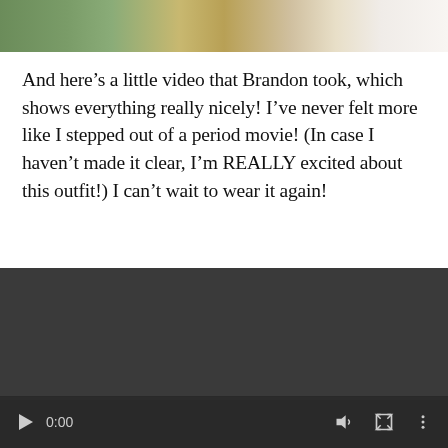[Figure (photo): Top portion of a photograph showing foliage, autumn leaves and what appears to be white fabric/dress, cropped at the top of the page]
And here’s a little video that Brandon took, which shows everything really nicely! I’ve never felt more like I stepped out of a period movie! (In case I haven’t made it clear, I’m REALLY excited about this outfit!) I can’t wait to wear it again!
[Figure (screenshot): Embedded video player with dark/black background showing a video at 0:00 timestamp with playback controls including play button, time display (0:00), volume icon, fullscreen icon, and options menu]